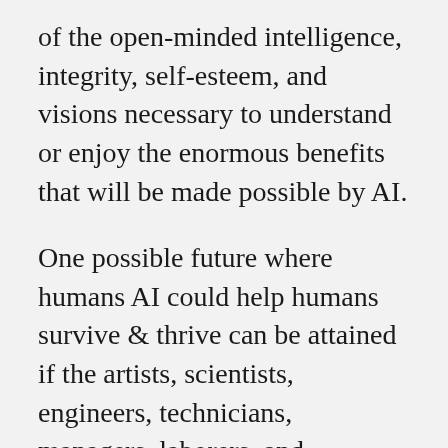of the open-minded intelligence, integrity, self-esteem, and visions necessary to understand or enjoy the enormous benefits that will be made possible by AI.
One possible future where humans AI could help humans survive & thrive can be attained if the artists, scientists, engineers, technicians, managers, laborers, and entrepreneurs who make AI technologies & products were to unify into a cohesive & loyal & cooperative single organized non-partisan, non-political, non-national